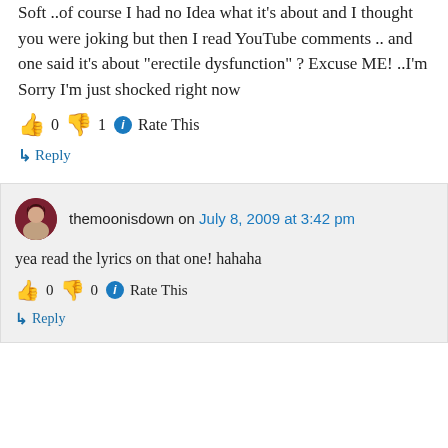Soft ..of course I had no Idea what it's about and I thought you were joking but then I read YouTube comments .. and one said it's about “erectile dysfunction” ? Excuse ME! ..I’m Sorry I’m just shocked right now
👍 0 👎 1 ⓘ Rate This
↳ Reply
themoonisdown on July 8, 2009 at 3:42 pm
yea read the lyrics on that one! hahaha
👍 0 👎 0 ⓘ Rate This
↳ Reply